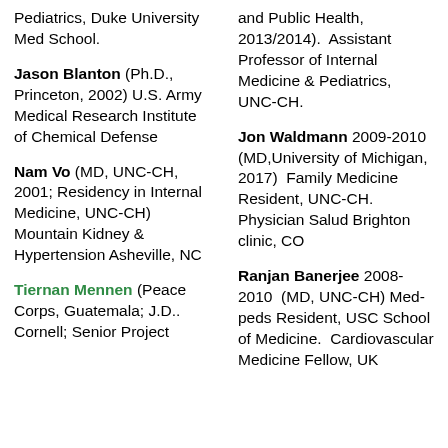Pediatrics, Duke University Med School.
Jason Blanton (Ph.D., Princeton, 2002) U.S. Army Medical Research Institute of Chemical Defense
Nam Vo (MD, UNC-CH, 2001; Residency in Internal Medicine, UNC-CH) Mountain Kidney & Hypertension Asheville, NC
Tiernan Mennen (Peace Corps, Guatemala; J.D.. Cornell; Senior Project
and Public Health, 2013/2014).  Assistant Professor of Internal Medicine & Pediatrics, UNC-CH.
Jon Waldmann 2009-2010 (MD,University of Michigan, 2017)  Family Medicine Resident, UNC-CH.  Physician Salud Brighton clinic, CO
Ranjan Banerjee 2008-2010  (MD, UNC-CH) Med-peds Resident, USC School of Medicine.  Cardiovascular Medicine Fellow, UK...